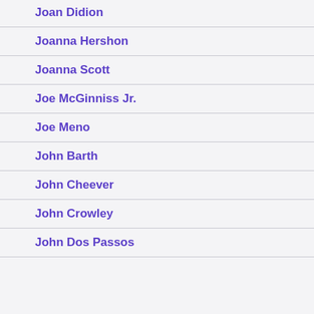Joan Didion
Joanna Hershon
Joanna Scott
Joe McGinniss Jr.
Joe Meno
John Barth
John Cheever
John Crowley
John Dos Passos